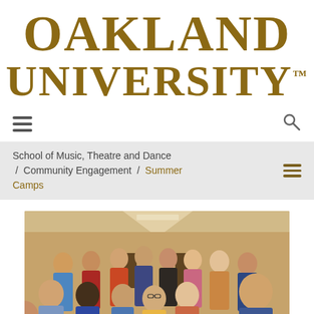[Figure (logo): Oakland University logo in gold/dark yellow serif font, two lines: OAKLAND on top, UNIVERSITY with TM mark below]
[Figure (other): Navigation bar with hamburger menu icon on left and search icon on right]
School of Music, Theatre and Dance / Community Engagement / Summer Camps
[Figure (photo): Group photo of approximately 15 children and teenagers standing in a school hallway, smiling at the camera]